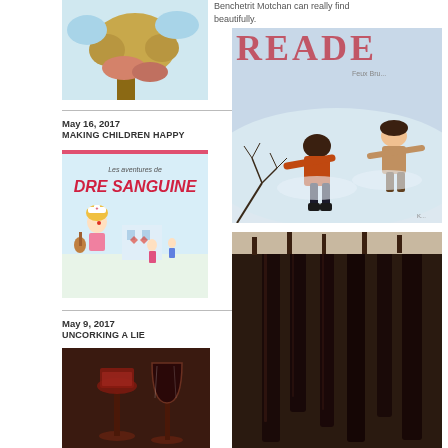[Figure (illustration): Top of a children's book illustration, partial view of a cartoon tree/creature]
Benchetrit Motchan can really find... beautifully.
May 16, 2017 MAKING CHILDREN HAPPY
[Figure (illustration): Cover of Les aventures de DRE SANGUINE children's book showing a cartoon nurse girl with a guitar]
May 9, 2017 UNCORKING A LIE
[Figure (photo): Photo of wine glasses/bottles, dark reddish tones]
[Figure (illustration): Cover of READER magazine showing two people making snow angels in a winter scene with bare branches]
[Figure (photo): Dark abstract photo, bottom right, partial view of dark rods/objects]